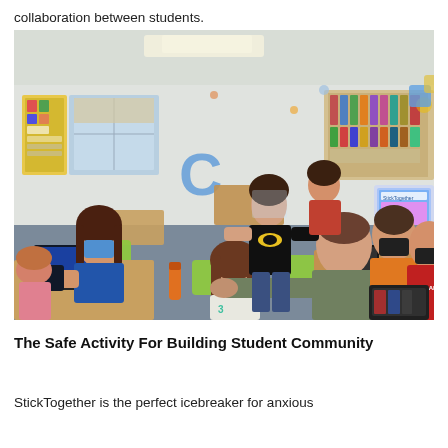collaboration between students.
[Figure (photo): Classroom scene with elementary school students using laptops at desks. A teacher wearing a Batman shirt stands in the center of the room. Several students wear face masks. The classroom has colorful decorations on the walls and a smartboard visible at the right. Yellow-green chairs are visible throughout the room.]
The Safe Activity For Building Student Community
StickTogether is the perfect icebreaker for anxious